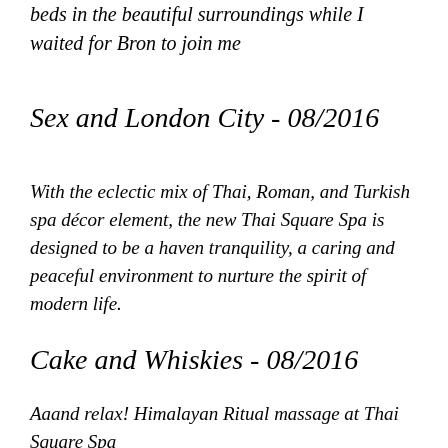beds in the beautiful surroundings while I waited for Bron to join me
Sex and London City - 08/2016
With the eclectic mix of Thai, Roman, and Turkish spa décor element, the new Thai Square Spa is designed to be a haven tranquility, a caring and peaceful environment to nurture the spirit of modern life.
Cake and Whiskies - 08/2016
Aaand relax! Himalayan Ritual massage at Thai Square Spa